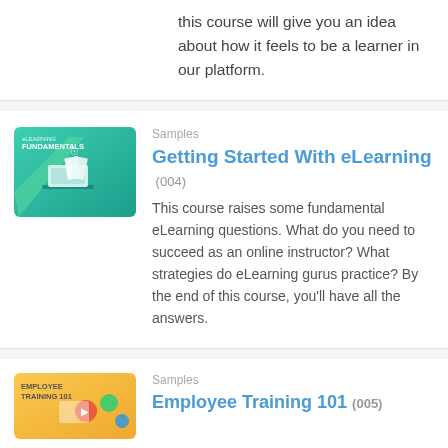this course will give you an idea about how it feels to be a learner in our platform.
[Figure (illustration): eLearning Fundamentals course thumbnail — teal/green gradient background with laptop and open book graphic, text reads 'eLEARNING FUNDAMENTALS']
Samples
Getting Started With eLearning
(004)
This course raises some fundamental eLearning questions. What do you need to succeed as an online instructor? What strategies do eLearning gurus practice? By the end of this course, you'll have all the answers.
[Figure (illustration): Employee Training 101 course thumbnail — yellow/orange background with colorful icons and device graphic]
Samples
Employee Training 101 (005)